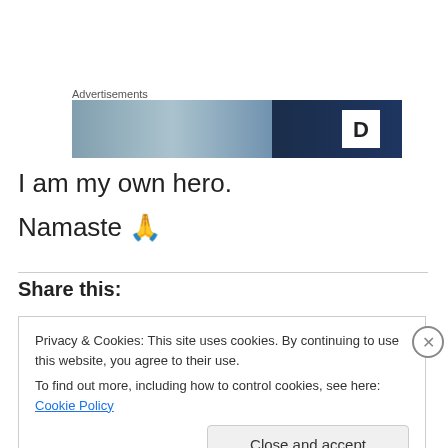Advertisements
[Figure (photo): Advertisement banner image with dark blue and blurred background sections, showing a letter D logo]
I am my own hero.
Namaste 🙏
Share this:
Privacy & Cookies: This site uses cookies. By continuing to use this website, you agree to their use.
To find out more, including how to control cookies, see here: Cookie Policy